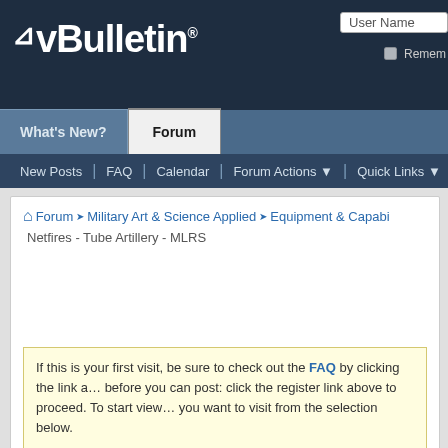vBulletin® | User Name | Remember
What's New? | Forum
New Posts  FAQ  Calendar  Forum Actions  Quick Links
Forum › Military Art & Science Applied › Equipment & Capabilities - Netfires - Tube Artillery - MLRS
If this is your first visit, be sure to check out the FAQ by clicking the link above. You may have to register before you can post: click the register link above to proceed. To start viewing messages, select the forum that you want to visit from the selection below.
Page 4 of 7  ◄◄ First  Last ►►
Thread: Netfires - Tube Artillery - MLRS